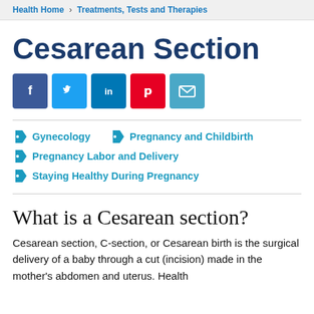Health Home > Treatments, Tests and Therapies
Cesarean Section
[Figure (infographic): Social sharing buttons: Facebook, Twitter, LinkedIn, Pinterest, Email]
Gynecology
Pregnancy and Childbirth
Pregnancy Labor and Delivery
Staying Healthy During Pregnancy
What is a Cesarean section?
Cesarean section, C-section, or Cesarean birth is the surgical delivery of a baby through a cut (incision) made in the mother's abdomen and uterus. Health